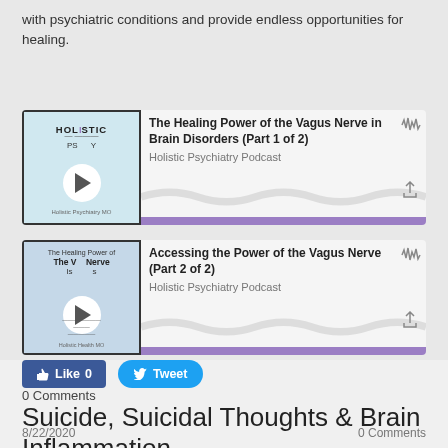with psychiatric conditions and provide endless opportunities for healing.
[Figure (screenshot): Podcast card for 'The Healing Power of the Vagus Nerve in Brain Disorders (Part 1 of 2)' from Holistic Psychiatry Podcast with play button and waveform icon]
[Figure (screenshot): Podcast card for 'Accessing the Power of the Vagus Nerve (Part 2 of 2)' from Holistic Psychiatry Podcast with play button and waveform icon]
Like 0
Tweet
0 Comments
Suicide, Suicidal Thoughts & Brain Inflammation
8/22/2020
0 Comments